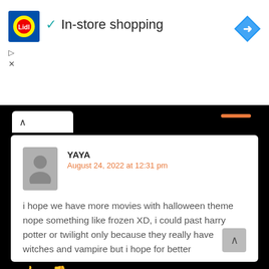[Figure (screenshot): Lidl advertisement banner showing Lidl logo, checkmark, 'In-store shopping' text, and a blue navigation diamond icon]
[Figure (screenshot): Browser UI chrome with tab and orange bar]
YAYA
August 24, 2022 at 12:31 pm
i hope we have more movies with halloween theme nope something like frozen XD, i could past harry potter or twilight only because they really have witches and vampire but i hope for better
2